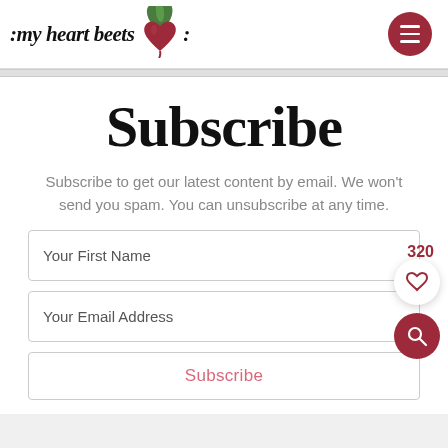my heart beets
Subscribe
Subscribe to get our latest content by email. We won't send you spam. You can unsubscribe at any time.
320
Your First Name
Your Email Address
Subscribe